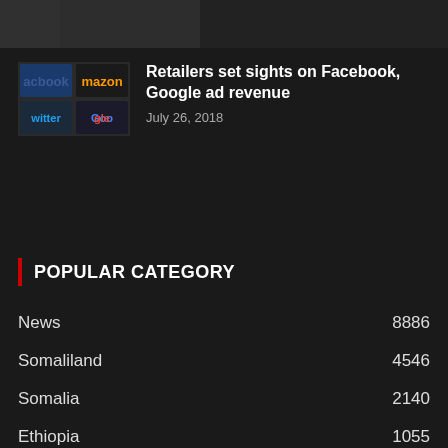[Figure (photo): Top image bar showing partial photo at the top of the page]
[Figure (screenshot): Thumbnail image showing logos of Facebook, Amazon, Twitter, and Google on dark background]
Retailers set sights on Facebook, Google ad revenue
July 26, 2018
POPULAR CATEGORY
News 8886
Somaliland 4546
Somalia 2140
Ethiopia 1055
Opinion 610
World 333
Djibouti 216
Kenya 149
Business 135